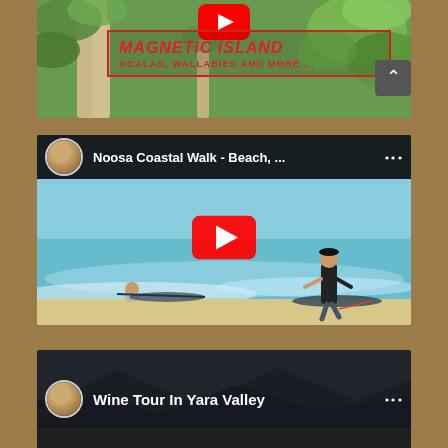[Figure (screenshot): YouTube video thumbnail for 'Magnetic Island - Koalas, Wallabies and More...' showing trees and wildlife background with YouTube play button icon and red bordered text overlay]
[Figure (screenshot): YouTube video embed for 'Noosa Coastal Walk - Beach, ...' showing surfers on the beach with YouTube play button, channel avatar, video title in header bar]
[Figure (screenshot): YouTube video embed for 'Wine Tour In Yara Valley' showing mountain landscape background with channel avatar and video title in dark header bar]